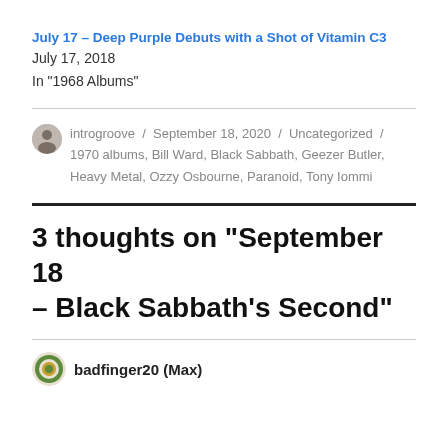July 17 – Deep Purple Debuts with a Shot of Vitamin C3
July 17, 2018
In "1968 Albums"
introgroove / September 18, 2020 / Uncategorized / 1970 albums, Bill Ward, Black Sabbath, Geezer Butler, Heavy Metal, Ozzy Osbourne, Paranoid, Tony Iommi
3 thoughts on “September 18 – Black Sabbath’s Second”
badfinger20 (Max)